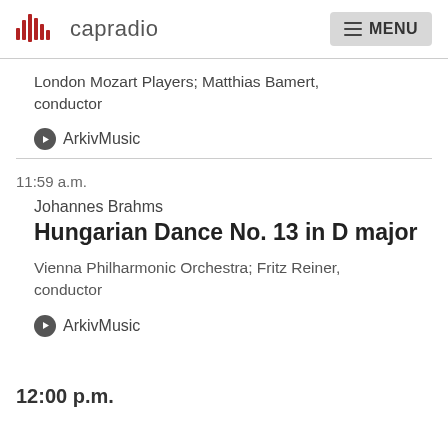capradio  MENU
London Mozart Players; Matthias Bamert, conductor
ArkivMusic
11:59 a.m.
Johannes Brahms
Hungarian Dance No. 13 in D major
Vienna Philharmonic Orchestra; Fritz Reiner, conductor
ArkivMusic
12:00 p.m.